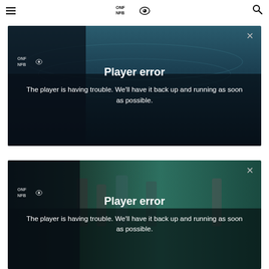≡  ONF/NFB [logo]  🔍
[Figure (screenshot): Video player error overlay. Dark background with underwater/ocean scene. Shows ONF/NFB logo top-left. Large '×' close button top-right. Center shows 'Player error' title and message 'The player is having trouble. We'll have it back up and running as soon as possible.']
[Figure (screenshot): Second video player error overlay. Dark background with people in a teal/green scene. Shows ONF/NFB logo left. Large '×' close button top-right. Center shows 'Player error' title and message 'The player is having trouble. We'll have it back up and running as soon as possible.']